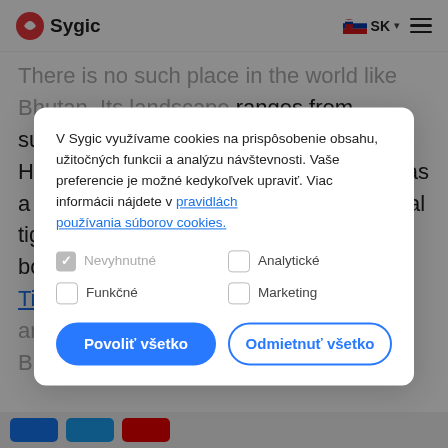Sygic | SK
There is no such place in the world like Bhutan. Its landscape ranges from subtropical plains to the sub-alpine Himalayan mountains and the country has a rich primate life with species like Bengal tiger, clouded leopard or sloth bear. It boasts beautiful monasteries, such as Tiger's Nest, and many Buddhist relics and trekking spots. The government of Bhutan is...
V Sygic využívame cookies na prispôsobenie obsahu, užitočných funkcii a analýzu návštevnosti. Vaše preferencie je možné kedykoľvek upraviť. Viac informácii nájdete v pravidlách používania súborov cookies.
Nevyhnutné (checked)
Analytické (unchecked)
Funkčné (unchecked)
Marketing (unchecked)
Povoliť všetko | Odmietnuť všetko